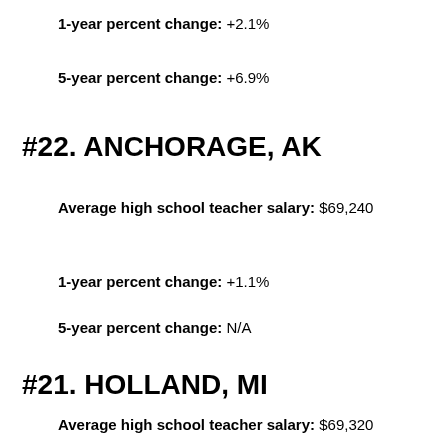1-year percent change: +2.1%
5-year percent change: +6.9%
#22. ANCHORAGE, AK
Average high school teacher salary: $69,240
1-year percent change: +1.1%
5-year percent change: N/A
#21. HOLLAND, MI
Average high school teacher salary: $69,320